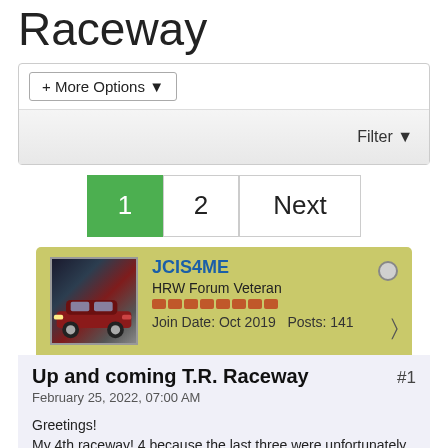Raceway
+ More Options
Filter
1  2  Next
JCIS4ME
HRW Forum Veteran
Join Date: Oct 2019  Posts: 141
Up and coming T.R. Raceway #1
February 25, 2022, 07:00 AM
Greetings!
My 4th raceway! 4 because the last three were unfortunately destroyed because I had to move and couldn't move them with